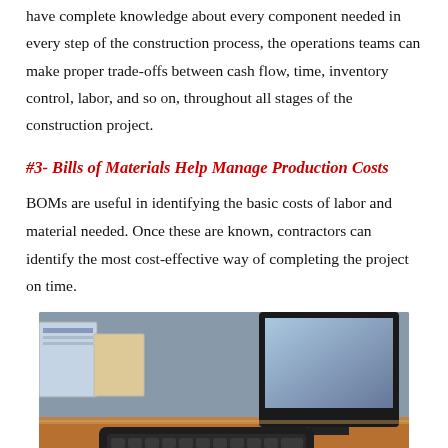have complete knowledge about every component needed in every step of the construction process, the operations teams can make proper trade-offs between cash flow, time, inventory control, labor, and so on, throughout all stages of the construction project.
#3- Bills of Materials Help Manage Production Costs
BOMs are useful in identifying the basic costs of labor and material needed. Once these are known, contractors can identify the most cost-effective way of completing the project on time.
[Figure (photo): Person in a business suit typing on a keyboard at a desk with a monitor in the background]